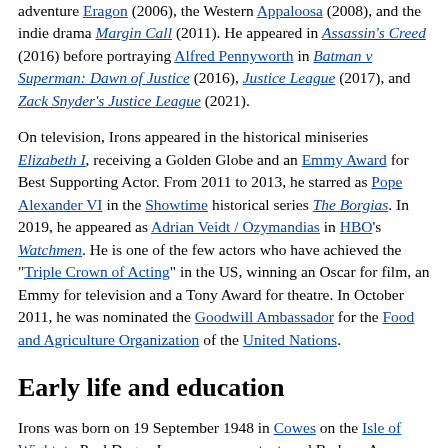adventure Eragon (2006), the Western Appaloosa (2008), and the indie drama Margin Call (2011). He appeared in Assassin's Creed (2016) before portraying Alfred Pennyworth in Batman v Superman: Dawn of Justice (2016), Justice League (2017), and Zack Snyder's Justice League (2021).
On television, Irons appeared in the historical miniseries Elizabeth I, receiving a Golden Globe and an Emmy Award for Best Supporting Actor. From 2011 to 2013, he starred as Pope Alexander VI in the Showtime historical series The Borgias. In 2019, he appeared as Adrian Veidt / Ozymandias in HBO's Watchmen. He is one of the few actors who have achieved the "Triple Crown of Acting" in the US, winning an Oscar for film, an Emmy for television and a Tony Award for theatre. In October 2011, he was nominated the Goodwill Ambassador for the Food and Agriculture Organization of the United Nations.
Early life and education
Irons was born on 19 September 1948 in Cowes on the Isle of Wight, to Paul Dugan Irons, an accountant, and Barbara Anne Brereton Brymer (née Sharpe).[2] Irons has a brother, Christopher (born 1943), and a sister, Felicity Anne (born 1944). He was educated at the independent Sherborne School[1] in Dorset from 1962 to 1966. He was the drummer and harmonica player in a four